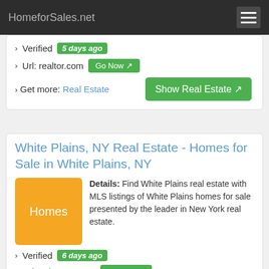HomeforSales.net
› Verified  5 days ago
› Url: realtor.com  Go Now
› Get more:  Real Estate
White Plains, NY Real Estate - Homes for Sale in White Plains, NY
Details: Find White Plains real estate with MLS listings of White Plains homes for sale presented by the leader in New York real estate.
› Verified  6 days ago
› Url: uphomes.com  Go Now
› Get more:  Real estate